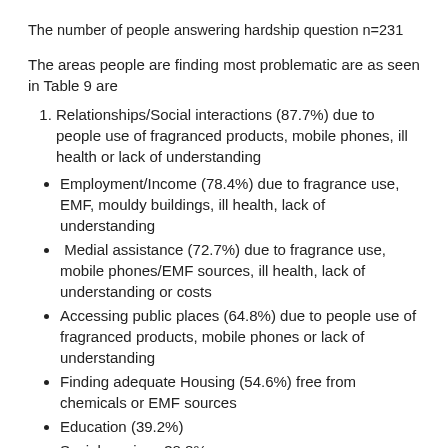The number of people answering hardship question n=231
The areas people are finding most problematic are as seen in Table 9 are
Relationships/Social interactions (87.7%) due to people use of fragranced products, mobile phones, ill health or lack of understanding
Employment/Income (78.4%) due to fragrance use, EMF, mouldy buildings, ill health, lack of understanding
Medial assistance (72.7%) due to fragrance use, mobile phones/EMF sources, ill health, lack of understanding or costs
Accessing public places (64.8%) due to people use of fragranced products, mobile phones or lack of understanding
Finding adequate Housing (54.6%) free from chemicals or EMF sources
Education (39.2%)
Social services 38.8%